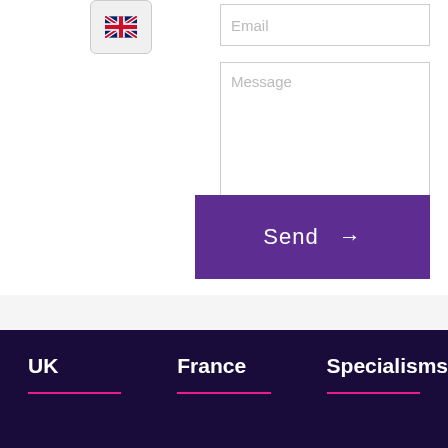[Figure (screenshot): UK flag button/icon in top left area of a web form]
Email
Message
Send →
UK
France
Specialisms